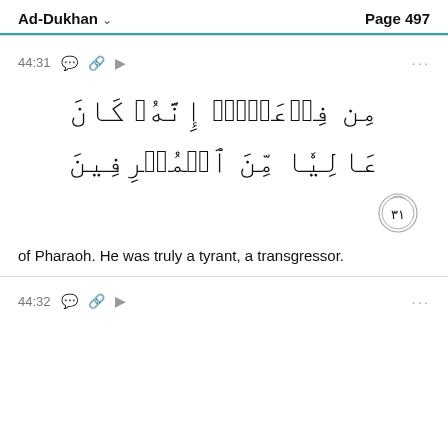Ad-Dukhan  Page 497
44:31
[Figure (other): Arabic Quranic text: مِن فِرۡعَوۡنَۚ إِنَّهُۥ كَانَ عَالِيٗا مِّنَ ٱلۡمُسۡرِفِينَ with verse number 31 in decorative circle]
of Pharaoh. He was truly a tyrant, a transgressor.
44:32